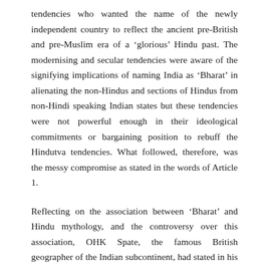tendencies who wanted the name of the newly independent country to reflect the ancient pre-British and pre-Muslim era of a 'glorious' Hindu past. The modernising and secular tendencies were aware of the signifying implications of naming India as 'Bharat' in alienating the non-Hindus and sections of Hindus from non-Hindi speaking Indian states but these tendencies were not powerful enough in their ideological commitments or bargaining position to rebuff the Hindutva tendencies. What followed, therefore, was the messy compromise as stated in the words of Article 1.
Reflecting on the association between 'Bharat' and Hindu mythology, and the controversy over this association, OHK Spate, the famous British geographer of the Indian subcontinent, had stated in his classic work 'India and Pakistan: A General and Regional Geography' : 'In Hindu literature the sub-continent as a whole is styled Bharat-Varsha, the land of the legendary